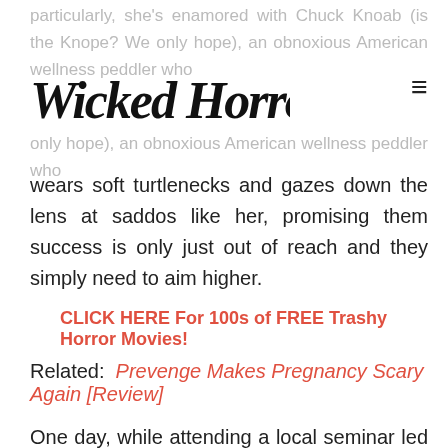particularly, she's enamored with Chuck Knoab (is the Knope? We only hope), an obnoxious American wellness peddler who
[Figure (logo): Wicked Horror website logo in stylized gothic/horror font]
wears soft turtlenecks and gazes down the lens at saddos like her, promising them success is only just out of reach and they simply need to aim higher.
CLICK HERE For 100s of FREE Trashy Horror Movies!
Related: Prevenge Makes Pregnancy Scary Again [Review]
One day, while attending a local seminar led by a snake oil salesman hilariously described as looking a bit like a pedophile, Lou stumbles upon a mysterious, glamorous